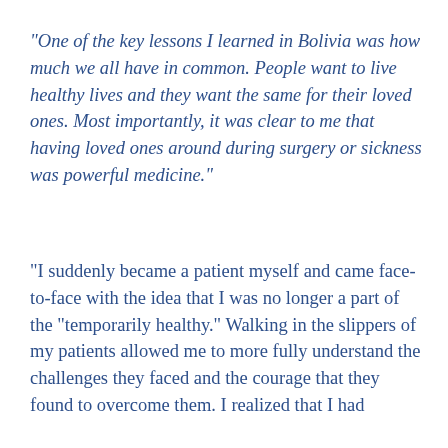“One of the key lessons I learned in Bolivia was how much we all have in common. People want to live healthy lives and they want the same for their loved ones. Most importantly, it was clear to me that having loved ones around during surgery or sickness was powerful medicine.”
“I suddenly became a patient myself and came face-to-face with the idea that I was no longer a part of the “temporarily healthy.” Walking in the slippers of my patients allowed me to more fully understand the challenges they faced and the courage that they found to overcome them. I realized that I had